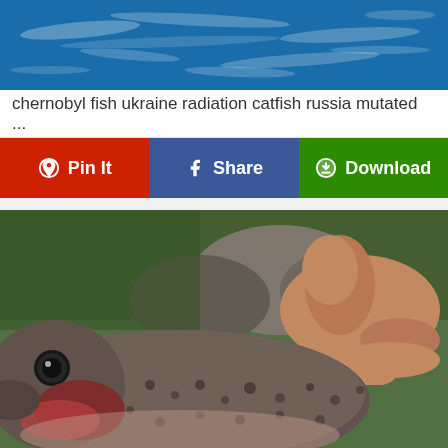[Figure (photo): Ocean water surface with blue water and white ripples/waves from above]
chernobyl fish ukraine radiation catfish russia mutated ...
Pin It | Share | Download
[Figure (photo): Close-up photo of a fish being held by a human hand, showing the fish's eye and spotted skin texture, with rocks and greenery in the background]